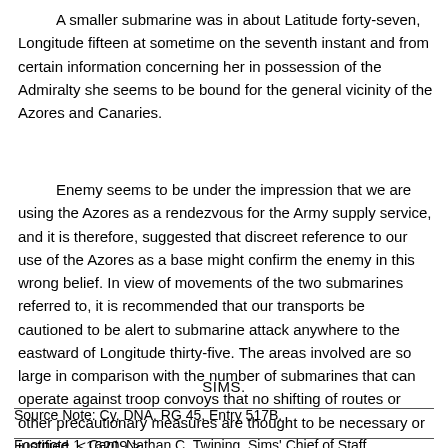A smaller submarine was in about Latitude forty-seven, Longitude fifteen at sometime on the seventh instant and from certain information concerning her in possession of the Admiralty she seems to be bound for the general vicinity of the Azores and Canaries.
Enemy seems to be under the impression that we are using the Azores as a rendezvous for the Army supply service, and it is therefore, suggested that discreet reference to our use of the Azores as a base might confirm the enemy in this wrong belief. In view of movements of the two submarines referred to, it is recommended that our transports be cautioned to be alert to submarine attack anywhere to the eastward of Longitude thirty-five. The areas involved are so large in comparison with the number of submarines that can operate against troop convoys that no shifting of routes or other precautionary measures are thought to be necessary or justified. <16209.>
SIMS.
Source Note: Cy, DNA, RG 45, Entry 517B.
Footnote 1. Capt. Nathan C. Twining, Sims' Chief of Staff,